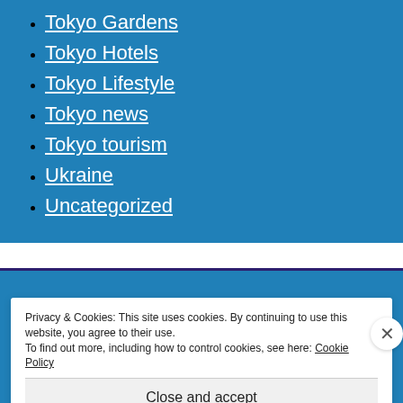Tokyo Gardens
Tokyo Hotels
Tokyo Lifestyle
Tokyo news
Tokyo tourism
Ukraine
Uncategorized
Privacy & Cookies: This site uses cookies. By continuing to use this website, you agree to their use. To find out more, including how to control cookies, see here: Cookie Policy
Close and accept